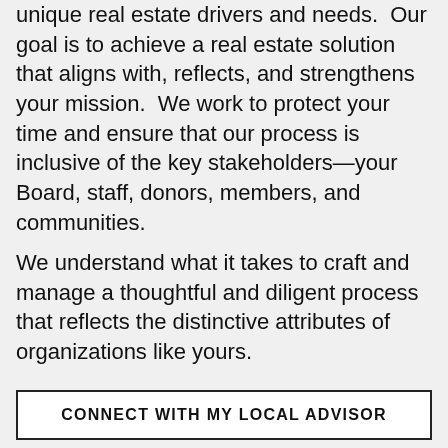unique real estate drivers and needs.  Our goal is to achieve a real estate solution that aligns with, reflects, and strengthens your mission.  We work to protect your time and ensure that our process is inclusive of the key stakeholders—your Board, staff, donors, members, and communities.
We understand what it takes to craft and manage a thoughtful and diligent process that reflects the distinctive attributes of organizations like yours.
CONNECT WITH MY LOCAL ADVISOR